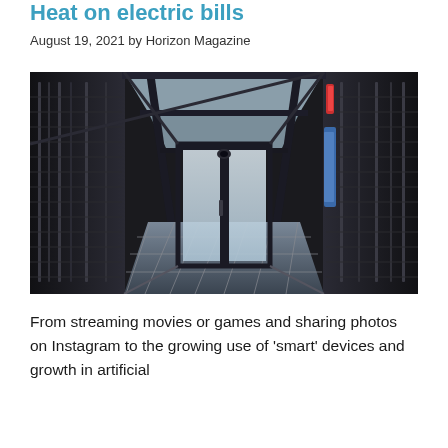Heat on electric bills
August 19, 2021 by Horizon Magazine
[Figure (photo): Interior corridor of a data center showing rows of tall black server racks on both sides, a raised metal grate floor, glass-paneled door at the end, and overhead metal framing. Some racks on the right show blue and red cable bundles.]
From streaming movies or games and sharing photos on Instagram to the growing use of 'smart' devices and growth in artificial